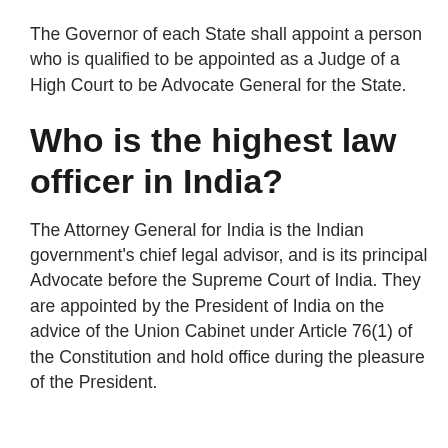The Governor of each State shall appoint a person who is qualified to be appointed as a Judge of a High Court to be Advocate General for the State.
Who is the highest law officer in India?
The Attorney General for India is the Indian government's chief legal advisor, and is its principal Advocate before the Supreme Court of India. They are appointed by the President of India on the advice of the Union Cabinet under Article 76(1) of the Constitution and hold office during the pleasure of the President.